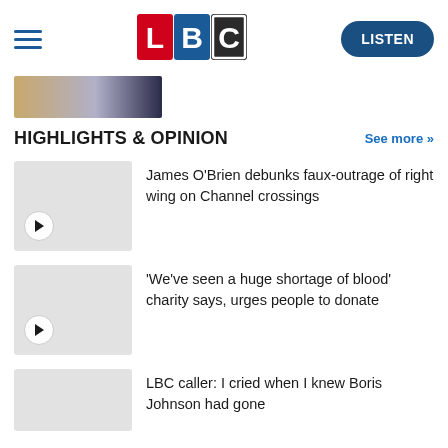LBC — LISTEN
[Figure (photo): Partially visible image strip at top left, appears to show a person]
HIGHLIGHTS & OPINION
See more >>
[Figure (photo): Grey thumbnail placeholder with play button]
James O'Brien debunks faux-outrage of right wing on Channel crossings
[Figure (photo): Grey thumbnail placeholder with play button]
'We've seen a huge shortage of blood' charity says, urges people to donate
[Figure (photo): Grey thumbnail placeholder]
LBC caller: I cried when I knew Boris Johnson had gone